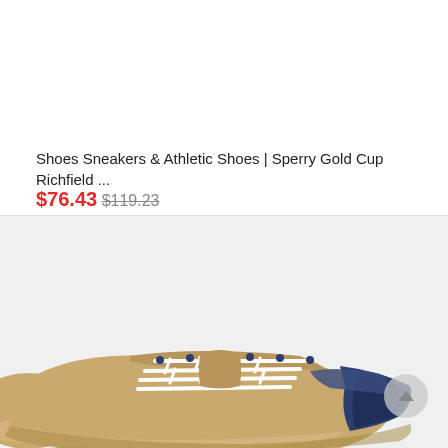[Figure (photo): White background product listing area for Sperry Gold Cup Richfield shoes, top section showing blank white image area]
Shoes Sneakers & Athletic Shoes | Sperry Gold Cup Richfield ...
$76.43 $119.23
[Figure (photo): Sperry Gold Cup Richfield sneakers in tan/khaki canvas with white laces and navy blue heel accent, shown from a 3/4 front angle on a light gray background]